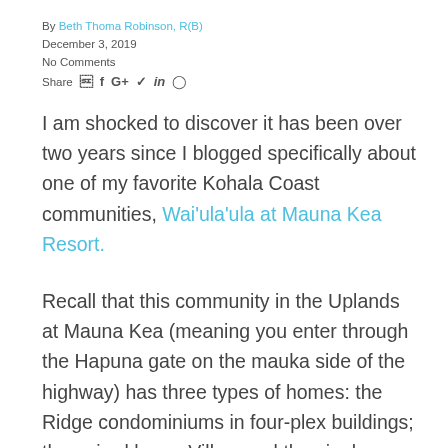By Beth Thoma Robinson, R(B)
December 3, 2019
No Comments
Share
I am shocked to discover it has been over two years since I blogged specifically about one of my favorite Kohala Coast communities, Wai'ula'ula at Mauna Kea Resort.
Recall that this community in the Uplands at Mauna Kea (meaning you enter through the Hapuna gate on the mauka side of the highway) has three types of homes: the Ridge condominiums in four-plex buildings; the paired home Villas, and the single family